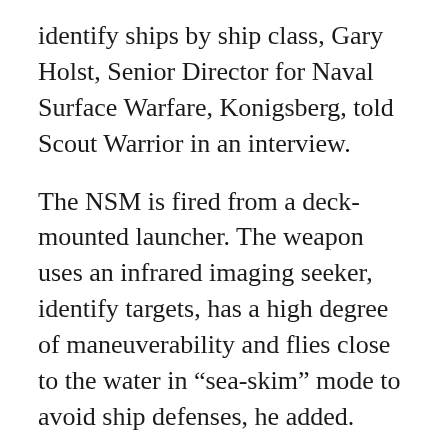identify ships by ship class, Gary Holst, Senior Director for Naval Surface Warfare, Konigsberg, told Scout Warrior in an interview.
The NSM is fired from a deck-mounted launcher. The weapon uses an infrared imaging seeker, identify targets, has a high degree of maneuverability and flies close to the water in “sea-skim” mode to avoid ship defenses, he added.
“It can determine ships in a group of ships by ship class, locating the ship which is its designated target. It will